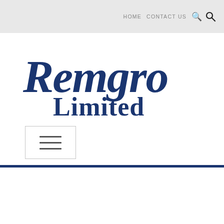HOME  CONTACT US  🔍
[Figure (logo): Remgro Limited company logo in dark navy blue italic serif font]
[Figure (other): Hamburger menu button (three horizontal lines) inside a bordered box]